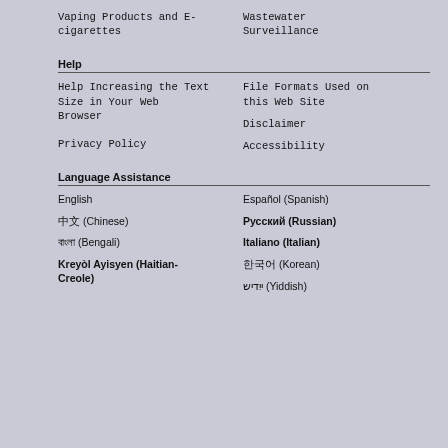Vaping Products and E-cigarettes
Wastewater Surveillance
Help
Help Increasing the Text Size in Your Web Browser
File Formats Used on this Web Site
Disclaimer
Privacy Policy
Accessibility
Language Assistance
English
Español (Spanish)
中文 (Chinese)
Русский (Russian)
বাংলা (Bengali)
Italiano (Italian)
Kreyòl Ayisyen (Haitian-Creole)
한국어 (Korean)
ייִדיש (Yiddish)